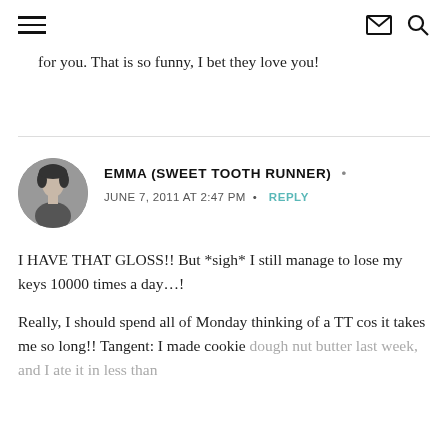≡  ✉  🔍
for you. That is so funny, I bet they love you!
EMMA (SWEET TOOTH RUNNER) •
JUNE 7, 2011 AT 2:47 PM • REPLY
I HAVE THAT GLOSS!! But *sigh* I still manage to lose my keys 10000 times a day…!
Really, I should spend all of Monday thinking of a TT cos it takes me so long!! Tangent: I made cookie dough nut butter last week, and I ate it in less than